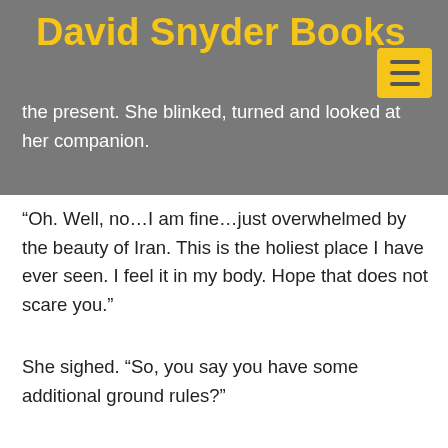David Snyder Books
A jolt went up Ana’s spine and she came back to the present. She blinked, turned and looked at her companion.
“Oh. Well, no…I am fine…just overwhelmed by the beauty of Iran. This is the holiest place I have ever seen. I feel it in my body. Hope that does not scare you.”
“Not at all,” he said. “I am Persian, too, my friend. We all feel it. It can be a sad feeling though, you know. When you remember how it used to be, and how much things have changed.”
She sighed. “So, you say you have some additional ground rules?”
“Only a few,” Rashid answered. “Mostly, I can say